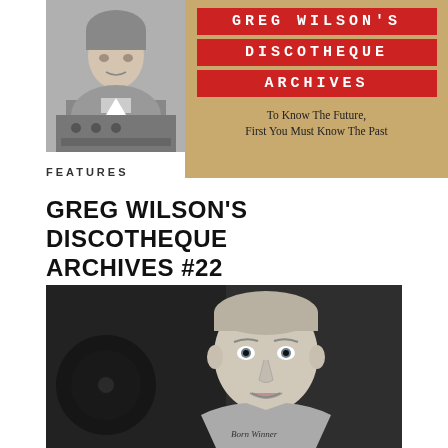[Figure (photo): Top banner: left side shows a black and white photograph of a young person at a mixing desk; right side shows a cardboard-textured graphic with red label bars reading 'GREG WILSON'S DISCOTHEQUE ARCHIVES' and tagline 'To Know The Future, First You Must Know The Past']
FEATURES
GREG WILSON'S DISCOTHEQUE ARCHIVES #22
[Figure (photo): Black and white portrait photograph of a man smiling slightly at the camera, wearing a grey t-shirt with text partially visible reading 'Born Winner' or similar]